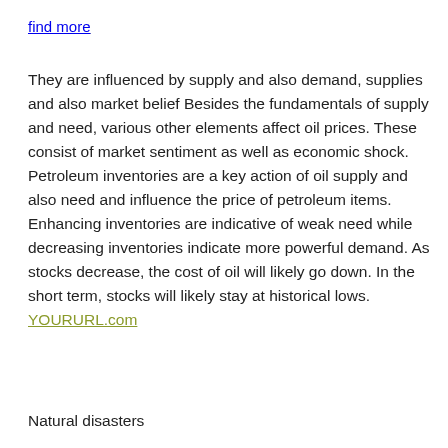find more
They are influenced by supply and also demand, supplies and also market belief Besides the fundamentals of supply and need, various other elements affect oil prices. These consist of market sentiment as well as economic shock. Petroleum inventories are a key action of oil supply and also need and influence the price of petroleum items. Enhancing inventories are indicative of weak need while decreasing inventories indicate more powerful demand. As stocks decrease, the cost of oil will likely go down. In the short term, stocks will likely stay at historical lows. YOURURL.com
Natural disasters